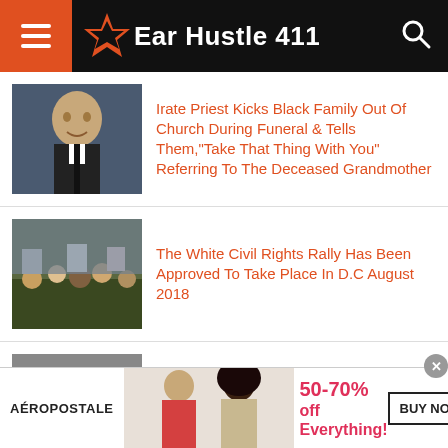Ear Hustle 411
Irate Priest Kicks Black Family Out Of Church During Funeral & Tells Them,"Take That Thing With You" Referring To The Deceased Grandmother
The White Civil Rights Rally Has Been Approved To Take Place In D.C August 2018
Man Brutally Rapes Woman & When She Returned From The Hospital, He
[Figure (photo): Advertisement banner for Aeropostale showing two female models, 50-70% off Everything!, BUY NOW button]